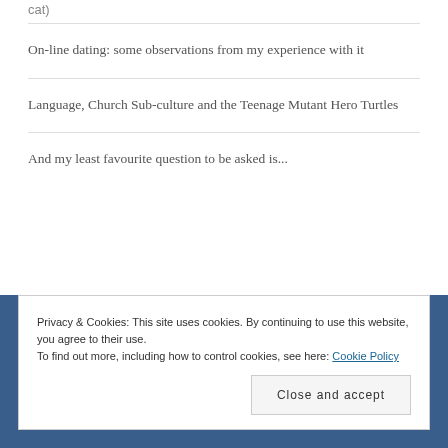cat)
On-line dating: some observations from my experience with it
Language, Church Sub-culture and the Teenage Mutant Hero Turtles
And my least favourite question to be asked is...
Privacy & Cookies: This site uses cookies. By continuing to use this website, you agree to their use.
To find out more, including how to control cookies, see here: Cookie Policy
Close and accept